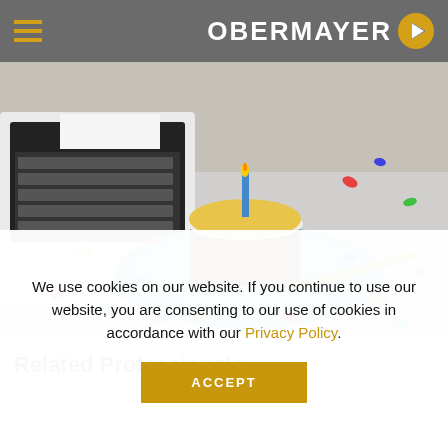OBERMAYER
[Figure (photo): A slice of chocolate birthday cake with yellow frosting and a blue candle on a light blue plate, surrounded by colorful confetti on a desk with a keyboard in the background.]
Related Professionals
We use cookies on our website. If you continue to use our website, you are consenting to our use of cookies in accordance with our Privacy Policy.
ACCEPT